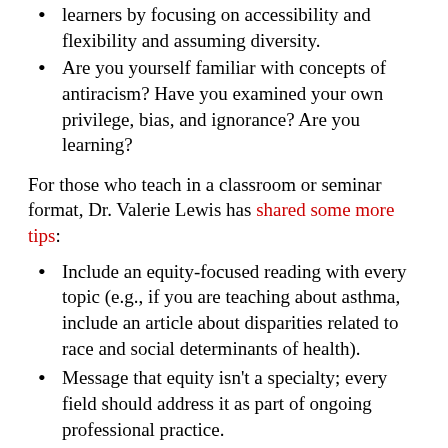learners by focusing on accessibility and flexibility and assuming diversity.
Are you yourself familiar with concepts of antiracism? Have you examined your own privilege, bias, and ignorance? Are you learning?
For those who teach in a classroom or seminar format, Dr. Valerie Lewis has shared some more tips:
Include an equity-focused reading with every topic (e.g., if you are teaching about asthma, include an article about disparities related to race and social determinants of health).
Message that equity isn't a specialty; every field should address it as part of ongoing professional practice.
Create a dedicated class session for equity, and if possible do two— one at the beginning to